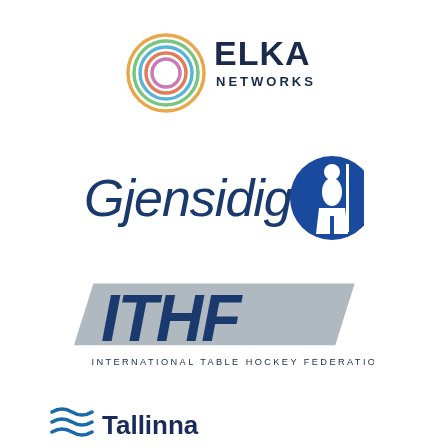[Figure (logo): ELKA Networks logo: colorful concentric rings on the left, dark navy bold text 'ELKA' large with 'NETWORKS' smaller below it on the right]
[Figure (logo): Gjensidige logo: large dark navy italic text 'Gjensidige' with a blue circle containing a white silhouette of a person on the right]
[Figure (logo): ITHF logo: large italic bold letters 'ITHF' in dark navy with silver/grey diagonal banner behind, text 'INTERNATIONAL TABLE HOCKEY FEDERATION' below in small caps]
[Figure (logo): Tallinna logo: horizontal blue wave/lines icon on left, text 'Tallinna' in dark navy on right, partially visible at bottom]